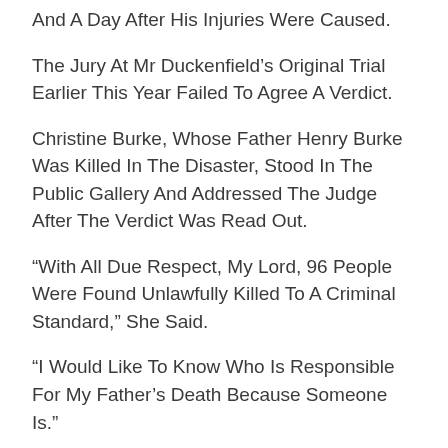And A Day After His Injuries Were Caused.
The Jury At Mr Duckenfield's Original Trial Earlier This Year Failed To Agree A Verdict.
Christine Burke, Whose Father Henry Burke Was Killed In The Disaster, Stood In The Public Gallery And Addressed The Judge After The Verdict Was Read Out.
“With All Due Respect, My Lord, 96 People Were Found Unlawfully Killed To A Criminal Standard,” She Said.
“I Would Like To Know Who Is Responsible For My Father’s Death Because Someone Is.”